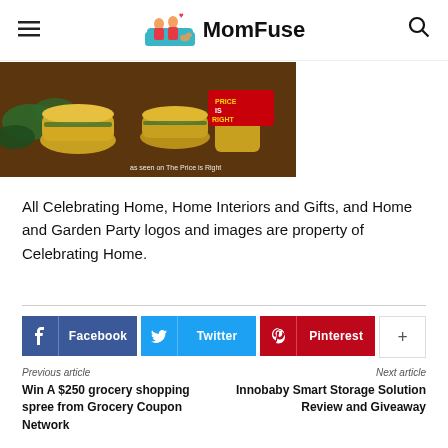MomFuse
[Figure (photo): Colorful ceramic bowls and mugs on a table with 'as seen on The Price is Right' text overlay and Price is Right logo]
All Celebrating Home, Home Interiors and Gifts, and Home and Garden Party logos and images are property of Celebrating Home.
[Figure (infographic): Social sharing buttons: Facebook, Twitter, Pinterest, and a plus/more button]
Previous article
Win A $250 grocery shopping spree from Grocery Coupon Network
Next article
Innobaby Smart Storage Solution Review and Giveaway